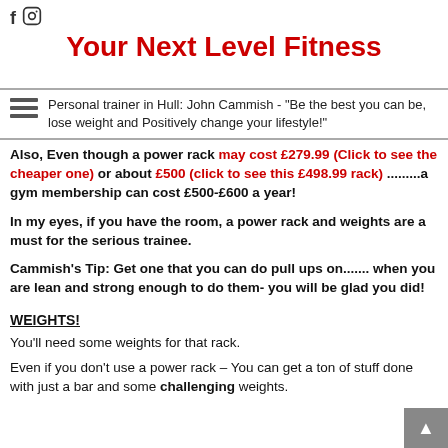f [instagram icon]
Your Next Level Fitness
Personal trainer in Hull: John Cammish - "Be the best you can be, lose weight and Positively change your lifestyle!"
Also, Even though a power rack may cost £279.99 (Click to see the cheaper one) or about £500 (click to see this £498.99 rack) .........a gym membership can cost £500-£600 a year!
In my eyes, if you have the room, a power rack and weights are a must for the serious trainee.
Cammish's Tip: Get one that you can do pull ups on....... when you are lean and strong enough to do them- you will be glad you did!
WEIGHTS!
You'll need some weights for that rack.
Even if you don't use a power rack – You can get a ton of stuff done with just a bar and some challenging weights.